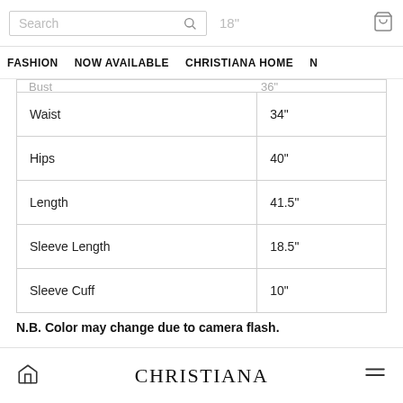Search | 18"
FASHION   NOW AVAILABLE   CHRISTIANA HOME   N
|  |  |
| --- | --- |
| Waist | 34" |
| Hips | 40" |
| Length | 41.5" |
| Sleeve Length | 18.5" |
| Sleeve Cuff | 10" |
N.B. Color may change due to camera flash.
CHRISTIANA